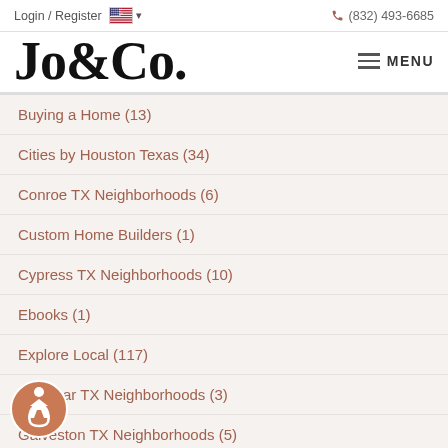Login / Register  🇺🇸 ▾          ☎ (832) 493-6685
Jo&Co.
≡ MENU
Buying a Home  (13)
Cities by Houston Texas  (34)
Conroe TX Neighborhoods  (6)
Custom Home Builders  (1)
Cypress TX Neighborhoods  (10)
Ebooks  (1)
Explore Local  (117)
Fulshear TX Neighborhoods  (3)
Galveston TX Neighborhoods  (5)
…dwig Village Neighborhoods  (3)
…ockley Neighborhoods  (3)